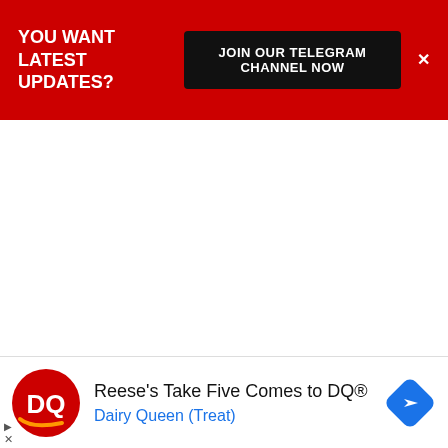[Figure (infographic): Red banner advertisement: 'YOU WANT LATEST UPDATES?' with black button 'JOIN OUR TELEGRAM CHANNEL NOW' and close X button]
[Figure (infographic): White empty content area with a collapse chevron tab at bottom-left]
[Figure (infographic): Bottom advertisement banner for Dairy Queen featuring DQ logo, text 'Reese's Take Five Comes to DQ®' and 'Dairy Queen (Treat)' with blue navigation icon]